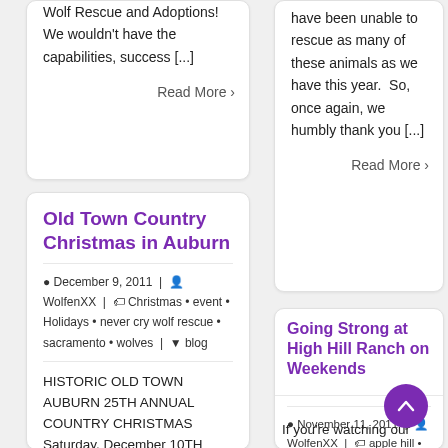Wolf Rescue and Adoptions! We wouldn't have the capabilities, success [...]
Read More >
have been unable to rescue as many of these animals as we have this year.  So, once again, we humbly thank you [...]
Read More >
Old Town Country Christmas in Auburn
December 9, 2011 | WolfenXX | Christmas • event • Holidays • never cry wolf rescue • sacramento • wolves | blog
HISTORIC OLD TOWN AUBURN 25TH ANNUAL COUNTRY CHRISTMAS Saturday, December 10TH
Going Strong at High Hill Ranch on Weekends
November 11, 2011 | WolfenXX | apple hill • event • never cry wolf rescue • wolves | blog
If you're watching our